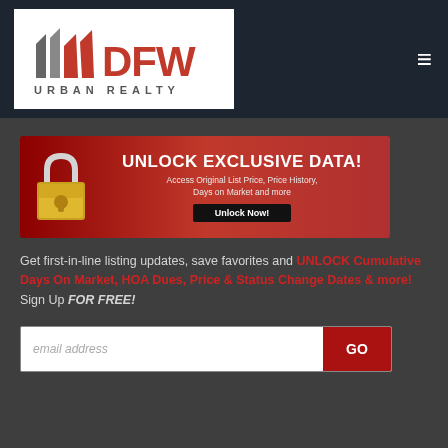[Figure (logo): DFW Urban Realty logo with stylized flag/building graphic in red and grey on white background]
[Figure (infographic): Red banner ad with gold padlock icon reading UNLOCK EXCLUSIVE DATA! Access Original List Price, Price History, Days on Market and more — Unlock Now! button]
Get first-in-line listing updates, save favorites and UNLOCK Cumulative Days On Market, HOA Dues, Price & Status Change Dates & more! Sign Up FOR FREE!